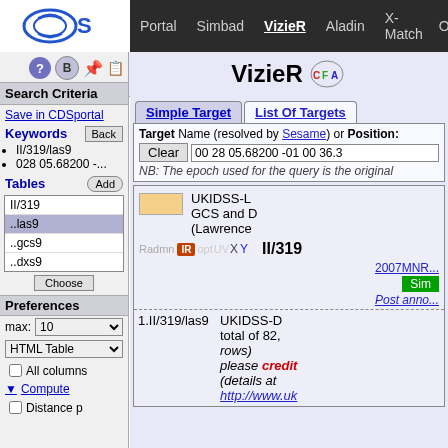Portal | Simbad | VizieR | Aladin | X-Match | Other
VizieR
Search Criteria
Save in CDSportal
Keywords
II/319/las9
028 05.68200 -...
Tables
II/319
..las9
..gcs9
..dxs9
Preferences
max: 10
HTML Table
All columns
Compute
Distance p
Simple Target | List Of Targets
Target Name (resolved by Sesame) or Position:
Clear  00 28 05.68200 -01 00 36.3
NB: The epoch used for the query is the original
UKIDSS-LAS GCS and DXS (Lawrence 2007MNR... Post anno...
1.II/319/las9  UKIDSS-D total of 82, rows) please credit (details at http://www.uk